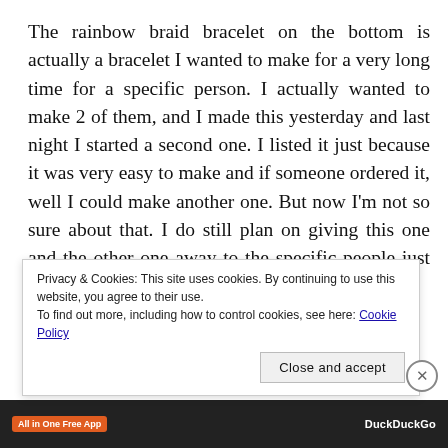The rainbow braid bracelet on the bottom is actually a bracelet I wanted to make for a very long time for a specific person. I actually wanted to make 2 of them, and I made this yesterday and last night I started a second one. I listed it just because it was very easy to make and if someone ordered it, well I could make another one. But now I'm not so sure about that. I do still plan on giving this one and the other one away to the specific people just because I like to give people gifts.
Privacy & Cookies: This site uses cookies. By continuing to use this website, you agree to their use. To find out more, including how to control cookies, see here: Cookie Policy
Close and accept
[Figure (screenshot): Ad bar at the bottom showing 'All in One Free App' badge in orange and 'DuckDuckGo' text on dark background]